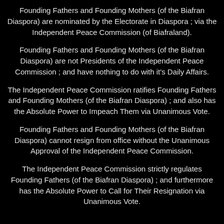Founding Fathers and Founding Mothers (of the Biafran Diaspora) are nominated by the Electorate in Diaspora ; via the Independent Peace Commission (of Biafraland).
Founding Fathers and Founding Mothers (of the Biafran Diaspora) are not Presidents of the Independent Peace Commission ; and have nothing to do with it's Daily Affairs.
The Independent Peace Commission ratifies Founding Fathers and Founding Mothers (of the Biafran Diaspora) ; and also has the Absolute Power to Impeach Them via Unanimous Vote.
Founding Fathers and Founding Mothers (of the Biafran Diaspora) cannot resign from office without the Unanimous Approval of the Independent Peace Commission.
The Independent Peace Commission strictly regulates Founding Fathers (of the Biafran Diaspora) ; and furthermore has the Absolute Power to Call for Their Resignation via Unanimous Vote.